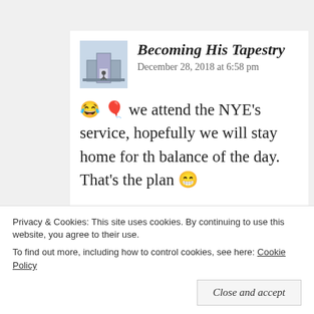Becoming His Tapestry
December 28, 2018 at 6:58 pm
😂 🎈 we attend the NYE's service, hopefully we will stay home for th balance of the day. That's the plan 😁
★ Liked by 1 person
Privacy & Cookies: This site uses cookies. By continuing to use this website, you agree to their use.
To find out more, including how to control cookies, see here: Cookie Policy
Close and accept
Pooswwwww December 28, 2018 at